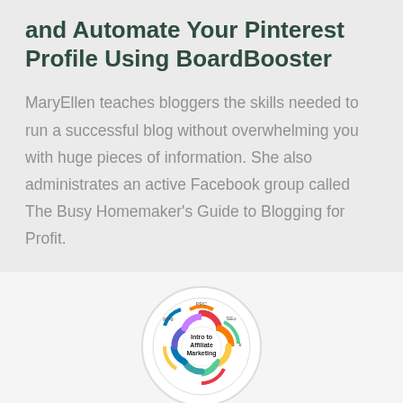and Automate Your Pinterest Profile Using BoardBooster
MaryEllen teaches bloggers the skills needed to run a successful blog without overwhelming you with huge pieces of information. She also administrates an active Facebook group called The Busy Homemaker's Guide to Blogging for Profit.
[Figure (logo): Circular logo for 'Intro to Affiliate Marketing' with colorful interlocking circles and labels like PPC, SEo, Ping around the edge]